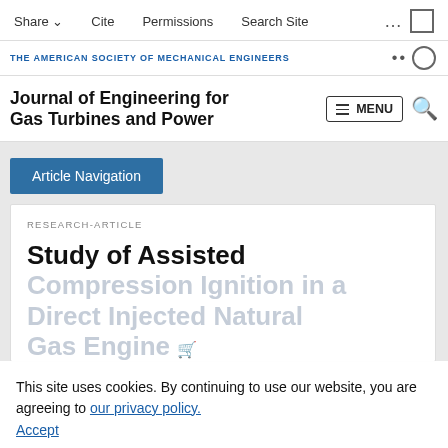Share  Cite  Permissions  Search Site
THE AMERICAN SOCIETY OF MECHANICAL ENGINEERS
Journal of Engineering for Gas Turbines and Power
Article Navigation
RESEARCH-ARTICLE
Study of Assisted Compression Ignition in a Direct Injected Natural Gas Engine
This site uses cookies. By continuing to use our website, you are agreeing to our privacy policy. Accept